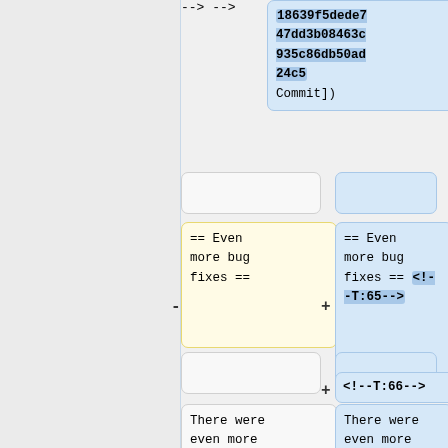18639f5dede747dd3b08463c935c86db50ad24c5 Commit])
== Even more bug fixes ==
== Even more bug fixes == <!--T:65-->
<!--T:66-->
There were even more issues fixed than those listed
There were even more issues fixed than those listed